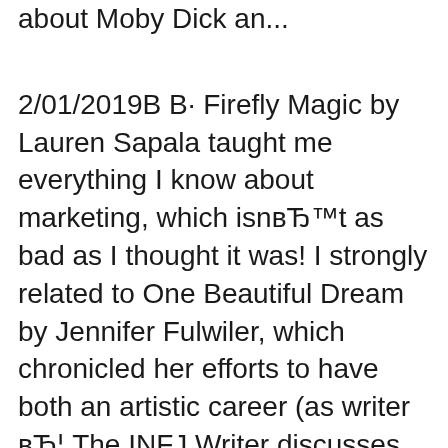about Moby Dick an...
2/01/2019В В· Firefly Magic by Lauren Sapala taught me everything I know about marketing, which isnвЂ™t as bad as I thought it was! I strongly related to One Beautiful Dream by Jennifer Fulwiler, which chronicled her efforts to have both an artistic career (as writer вЂ¦ The INFJ Writer discusses such topics as: How an INFJ writerГўв‚¬в„ўs physical health is tied to their creative output Why INFJ writers are more likely to fall prey to addictions When an INFJ
2/01/2019В В· Firefly Magic by Lauren Sapala taught me everything I know about marketing, which isnвЂ™t as bad